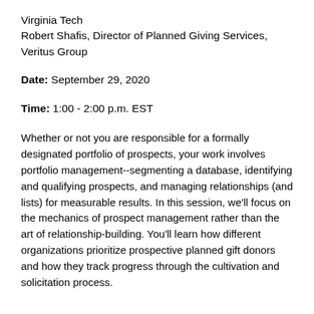Virginia Tech
Robert Shafis, Director of Planned Giving Services, Veritus Group
Date: September 29, 2020
Time: 1:00 - 2:00 p.m. EST
Whether or not you are responsible for a formally designated portfolio of prospects, your work involves portfolio management--segmenting a database, identifying and qualifying prospects, and managing relationships (and lists) for measurable results. In this session, we'll focus on the mechanics of prospect management rather than the art of relationship-building. You'll learn how different organizations prioritize prospective planned gift donors and how they track progress through the cultivation and solicitation process.